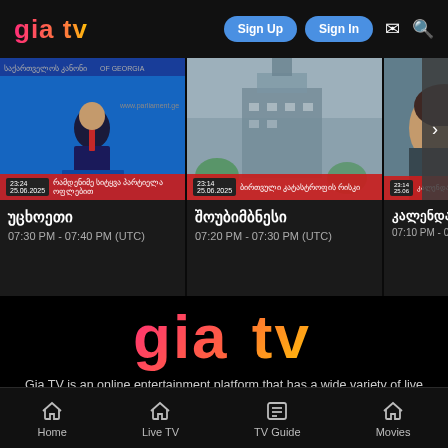gia tv — Sign Up | Sign In | Mail | Search
[Figure (screenshot): TV card 1: news anchor on blue background with Georgian text banner: რამდენიმე სიტყვა პარტიელა ოფლებით, time 07:30 PM - 07:40 PM (UTC), title: უცხოეთი]
[Figure (screenshot): TV card 2: rainy foggy building with Georgian text banner: ბირთვული კატასტროფის რისკი, time 07:20 PM - 07:30 PM (UTC), title: შოუბიმბნესი]
[Figure (screenshot): TV card 3 (partial): person with Georgian text banner: კალენდარ, time 07:10 PM - 07:...]
[Figure (logo): Large gia tv logo in pink-orange-yellow gradient on black background]
Gia TV is an online entertainment platform that has a wide variety of live
Home | Live TV | TV Guide | Movies